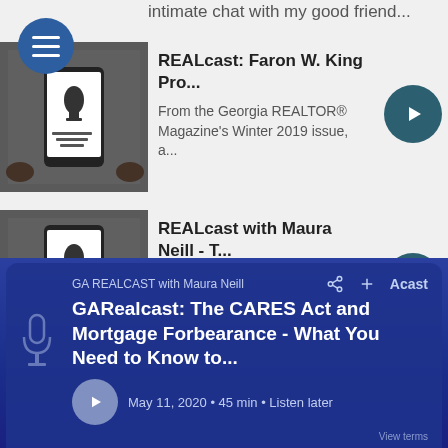intimate chat with my good friend...
REALcast: Faron W. King Pro...
From the Georgia REALTOR® Magazine's Winter 2019 issue, a...
REALcast with Maura Neill - T...
What in the world is REALcast? Well, REALTOR® friends, REALcas...
GA REALCAST with Maura Neill
GARealcast: The CARES Act and Mortgage Forbearance - What You Need to Know to...
May 11, 2020 • 45 min • Listen later